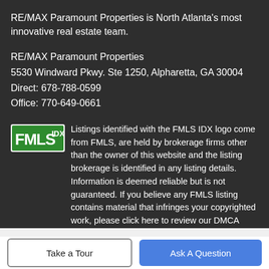RE/MAX Paramount Properties is North Atlanta's most innovative real estate team.
RE/MAX Paramount Properties
5530 Windward Pkwy. Ste 1250, Alpharetta, GA 30004
Direct: 678-788-0599
Office: 770-649-0661
[Figure (logo): FMLS IDX logo — green rectangular logo with 'FMLS' in bold and 'IDX' superscript in smaller text]
Listings identified with the FMLS IDX logo come from FMLS, are held by brokerage firms other than the owner of this website and the listing brokerage is identified in any listing details. Information is deemed reliable but is not guaranteed. If you believe any FMLS listing contains material that infringes your copyrighted work, please click here to review our DMCA policy and learn how to submit a takedown request. © 2022 First Multiple
Take a Tour
Ask A Question